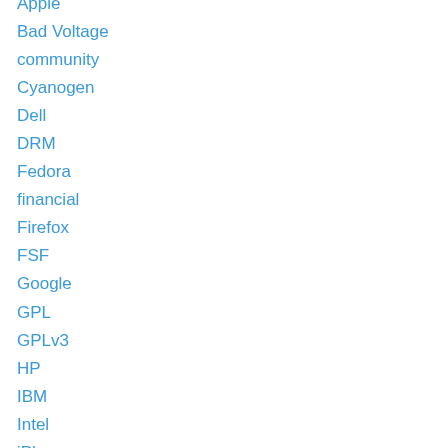Apple
Bad Voltage
community
Cyanogen
Dell
DRM
Fedora
financial
Firefox
FSF
Google
GPL
GPLv3
HP
IBM
Intel
iPhone
Linux
Linux Foundation
Linux Fund